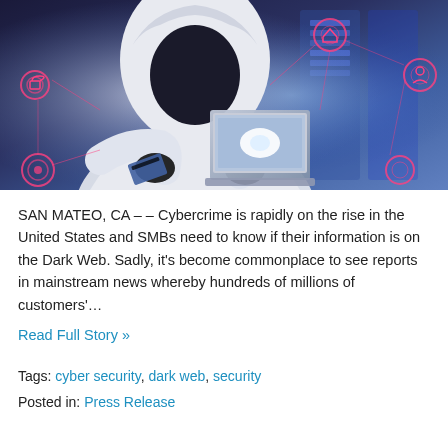[Figure (photo): A hooded figure in white hoodie with black gloves using a laptop, overlaid with pink/red cybersecurity network icons and glowing connection lines on a dark blue background — illustrating cybercrime/dark web theme.]
SAN MATEO, CA – – Cybercrime is rapidly on the rise in the United States and SMBs need to know if their information is on the Dark Web. Sadly, it's become commonplace to see reports in mainstream news whereby hundreds of millions of customers'…
Read Full Story »
Tags: cyber security, dark web, security
Posted in: Press Release